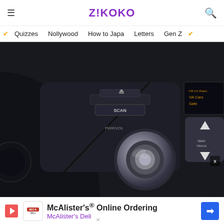Z!KOKO
Quizzes  Nollywood  How to Japa  Letters  Gen Z
[Figure (photo): Close-up photo of a car dashboard with radio controls, including a SCAN button, PWR/VOL knob (silver/chrome), and SEEK/TRACK button. Dark interior with black plastic panels and a small display screen visible on the right.]
McAlister's® Online Ordering
McAlister's Deli
Because N                                                     ed